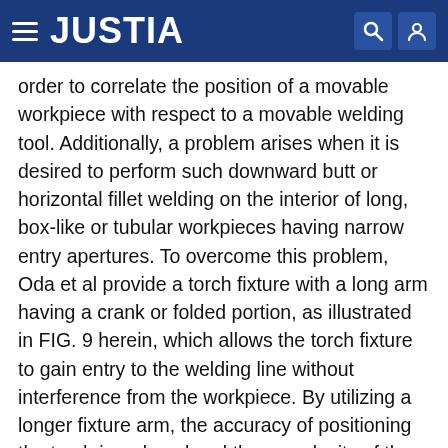JUSTIA
order to correlate the position of a movable workpiece with respect to a movable welding tool. Additionally, a problem arises when it is desired to perform such downward butt or horizontal fillet welding on the interior of long, box-like or tubular workpieces having narrow entry apertures. To overcome this problem, Oda et al provide a torch fixture with a long arm having a crank or folded portion, as illustrated in FIG. 9 herein, which allows the torch fixture to gain entry to the welding line without interference from the workpiece. By utilizing a longer fixture arm, the accuracy of positioning the torch is reduced and the complexity of the apparatus is increased thereby magnifying maintenance and production considerations.
SUMMARY OF THE INVENTION